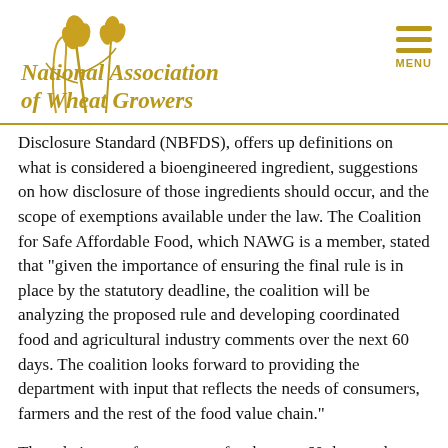[Figure (logo): National Association of Wheat Growers logo with wheat stalk illustration and gold script text]
Disclosure Standard (NBFDS), offers up definitions on what is considered a bioengineered ingredient, suggestions on how disclosure of those ingredients should occur, and the scope of exemptions available under the law. The Coalition for Safe Affordable Food, which NAWG is a member, stated that “given the importance of ensuring the final rule is in place by the statutory deadline, the coalition will be analyzing the proposed rule and developing coordinated food and agricultural industry comments over the next 60 days. The coalition looks forward to providing the department with input that reflects the needs of consumers, farmers and the rest of the food value chain.”
The rule is open for comment for the next 60 days and comments can be submitted both online or mailed.